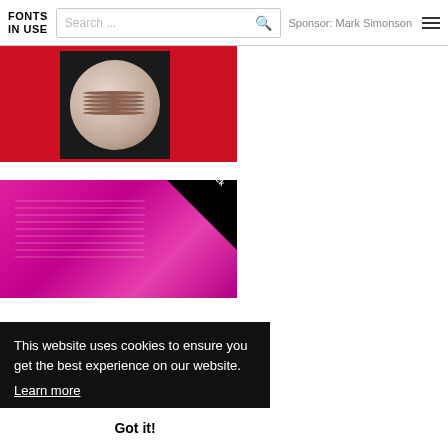FONTS IN USE | Search ... | Sponsor: Mark Simonson
[Figure (photo): Red background with dark card showing a baseball, top portion of image visible]
[Figure (photo): Close-up of a bright pink/magenta book cover with embossed text, Staff Pick banner in corner]
This website uses cookies to ensure you get the best experience on our website.
Learn more
Got it!
[Figure (photo): Bottom strip showing partial pink/magenta book cover with small text]